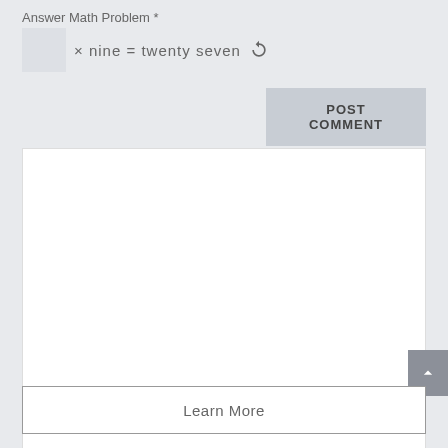Answer Math Problem *
POST COMMENT
[Figure (other): Large white empty content area/text box]
Learn More